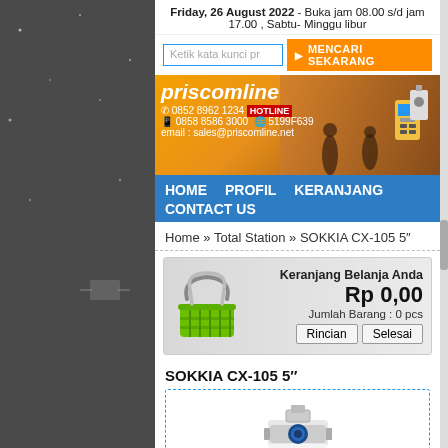Friday, 26 August 2022 - Buka jam 08.00 s/d jam 17.00 , Sabtu- Minggu libur
Ketik kata kunci pr
MENCARI SEKARANG
[Figure (illustration): Priscomline banner with logo, hotline number 0852 8962 1234, WhatsApp 0858 8586 3000, BBM 5199F639, email sales@priscomline.net, background showing surveyors and surveying equipment]
HOME   PROFIL   KERANJANG
CONTACT US
Home » Total Station » SOKKIA CX-105 5"
[Figure (illustration): Shopping cart widget showing Keranjang Belanja Anda, Rp 0,00, Jumlah Barang : 0 pcs, with Rincian and Selesai buttons and green basket icon]
SOKKIA CX-105 5"
[Figure (photo): SOKKIA CX-105 5" total station surveying instrument, blue and white body with targeting scope]